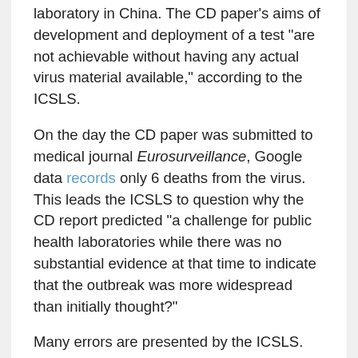laboratory in China. The CD paper's aims of development and deployment of a test "are not achievable without having any actual virus material available," according to the ICSLS.
On the day the CD paper was submitted to medical journal Eurosurveillance, Google data records only 6 deaths from the virus. This leads the ICSLS to question why the CD report predicted "a challenge for public health laboratories while there was no substantial evidence at that time to indicate that the outbreak was more widespread than initially thought?"
Many errors are presented by the ICSLS. The concentration of primers used in the development of the PCR tests are "far too high" for "optimal specific amplifications of target genes." The variations of primer pairs used in the CD paper mean, "The design variations will inevitably lead to results that are not even SARS CoV-2 related." Thus,